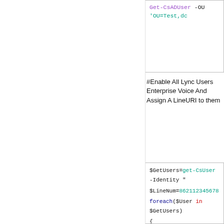[Figure (screenshot): Top code block showing PowerShell command: Get-CsADUser -OU 'OU=Test,dc...']
#Enable All Lync Users Enterprise Voice And Assign A LineURI to them
[Figure (screenshot): Main code block showing PowerShell script: $GetUsers=get-CsUser -Identity '', $LineNum=862112345678, foreach($User in $GetUsers), {, $DN=$User.DisplayName, $LineURI="+"+$LineNum, Set-CsUser -Identity $DN -Enterp, $LIneNum++]